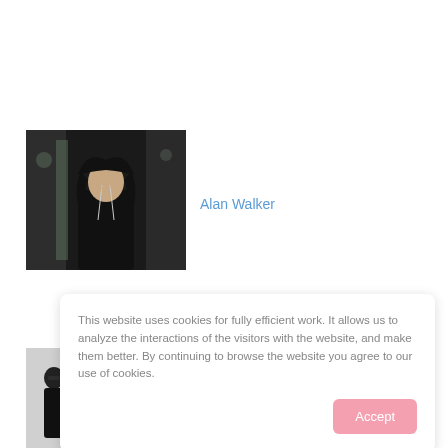[Figure (photo): Photo of Alan Walker, a young man in a black hoodie with hood partially up, standing in a dark underpass or tunnel, looking at camera]
Alan Walker
[Figure (photo): Group photo of four people (band/group) standing together, wearing sunglasses, in a light-colored setting]
This website uses cookies for fully efficient work. It allows us to analyze the interactions of the visitors with the website, and make them better. By continuing to browse the website you agree to our use of cookies.
Accept